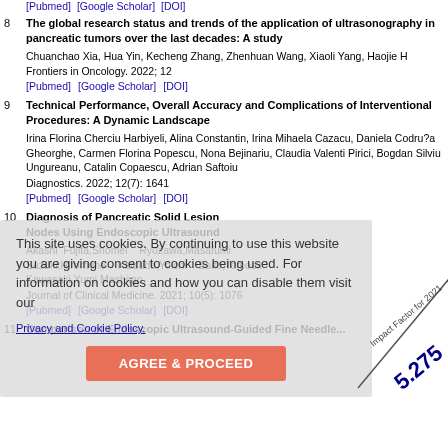[Pubmed] [Google Scholar] [DOI]
8 The global research status and trends of the application of ultrasonography in pancreatic tumors over the last decades: A study
Chuanchao Xia, Hua Yin, Kecheng Zhang, Zhenhuan Wang, Xiaoli Yang, Haojie H
Frontiers in Oncology. 2022; 12
[Pubmed] [Google Scholar] [DOI]
9 Technical Performance, Overall Accuracy and Complications of Interventional Procedures: A Dynamic Landscape
Irina Florina Cherciu Harbiyeli, Alina Constantin, Irina Mihaela Cazacu, Daniela Codru?a Gheorghe, Carmen Florina Popescu, Nona Bejinariu, Claudia Valenti Pirici, Bogdan Silviu Ungureanu, Catalin Copaescu, Adrian Saftoiu
Diagnostics. 2022; 12(7): 1641
[Pubmed] [Google Scholar] [DOI]
10 Diagnosis of Pancreatic Solid Lesions and Lymph Nodes Using Endoscopic Ultrasound
Akashi Fujita,Shomei Ryozawa,Masafumi Suzuki,Hiromune Katsuda,Yoichi Saito,Tomoak Kawasaki,Yumi Mashimo
Journal of Clinical Medicine. 2021; 10(5): 1076
[Pubmed] [Google Scholar] [DOI]
11 Comparison of Endoscopic Ultrasound-Guided Fine Needle Aspiration...